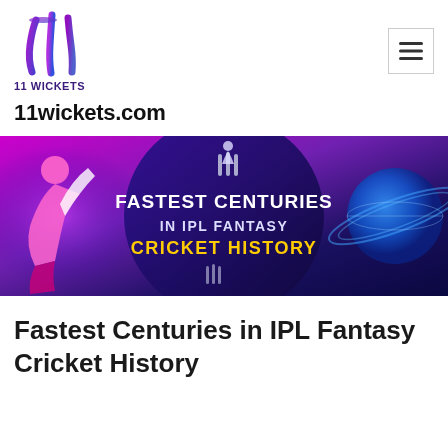[Figure (logo): 11 Wickets logo with stylized cricket stumps/wickets in purple and blue gradient, with text '11 WICKETS' below in dark purple]
11wickets.com
[Figure (illustration): Banner image showing fantasy cricket theme: cricket batsman in pink/white illustration on left, central dark circle with text 'FASTEST CENTURIES IN IPL FANTASY CRICKET HISTORY' in white and yellow bold text, glowing planet/globe graphic on right, purple/blue/magenta background]
Fastest Centuries in IPL Fantasy Cricket History